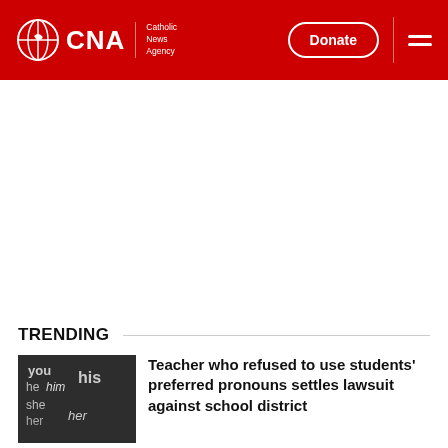CNA Catholic News Agency — Donate
[Figure (screenshot): White advertisement/empty space area below header]
TRENDING
[Figure (photo): Chalkboard with words: you, him, his, he, she, her, her]
Teacher who refused to use students' preferred pronouns settles lawsuit against school district